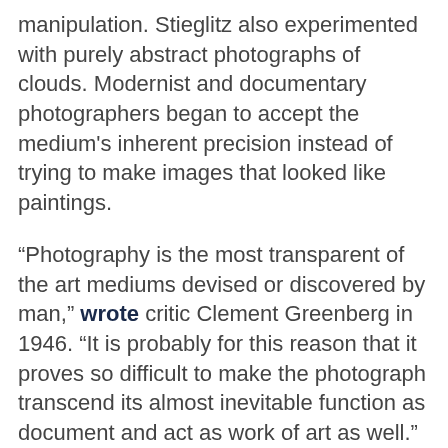manipulation. Stieglitz also experimented with purely abstract photographs of clouds. Modernist and documentary photographers began to accept the medium's inherent precision instead of trying to make images that looked like paintings.
“Photography is the most transparent of the art mediums devised or discovered by man,” wrote critic Clement Greenberg in 1946. “It is probably for this reason that it proves so difficult to make the photograph transcend its almost inevitable function as document and act as work of art as well.”
Still, well into the 20th century, many critics and artists continued to view photography as operating in a realm that was not quite fine art – a debate that even continues today. But a look back to the 19th century